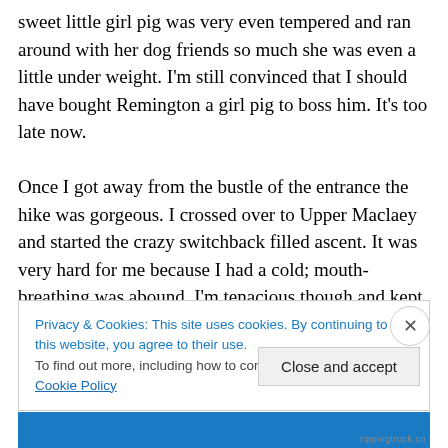sweet little girl pig was very even tempered and ran around with her dog friends so much she was even a little under weight. I'm still convinced that I should have bought Remington a girl pig to boss him. It's too late now.

Once I got away from the bustle of the entrance the hike was gorgeous. I crossed over to Upper Maclaey and started the crazy switchback filled ascent. It was very hard for me because I had a cold; mouth-breathing was abound. I'm tenacious though and kept my "one foot in front of the other" motto in my mind. When I started to get
Privacy & Cookies: This site uses cookies. By continuing to use this website, you agree to their use.
To find out more, including how to control cookies, see here: Cookie Policy
Close and accept